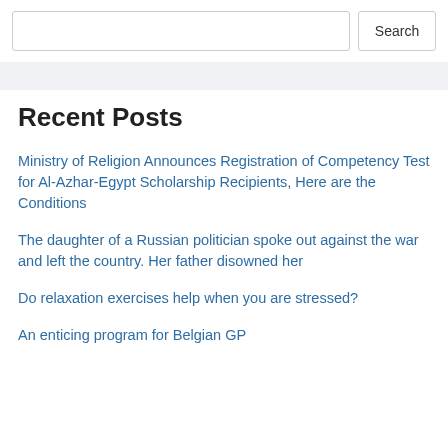Search
Recent Posts
Ministry of Religion Announces Registration of Competency Test for Al-Azhar-Egypt Scholarship Recipients, Here are the Conditions
The daughter of a Russian politician spoke out against the war and left the country. Her father disowned her
Do relaxation exercises help when you are stressed?
An enticing program for Belgian GP